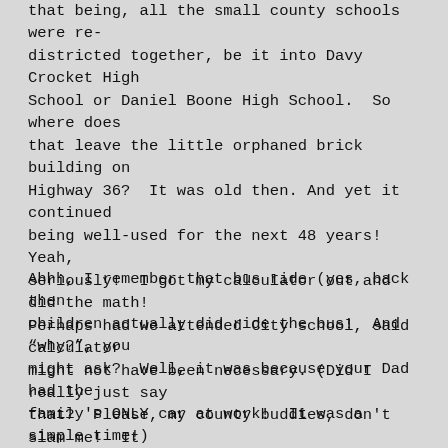that being, all the small county schools were re-districted together, be it into Davy Crocket High School or Daniel Boone High School.  So where does that leave the little orphaned brick building on Highway 36?  It was old then. And yet it continued being well-used for the next 48 years!  Yeah, seriously!  I got my calculator out and did the math!  Perhaps had we attended City school, said calculator might not have been necessary. (Did I really just say that?  Please, my county buddies, don't slam me!  It was a joke!!!)  Because I truly loved my Washington County Boones Creek High School roots~!  Good grief, it's where I met my future husband!
Ahhh, I remember that bus ride (yes, back then children actually did ride the bus!  And "why?", you might ask?  Well, it was because your Dad had the family's ONLY car at work!  It was a simple time!)  Yes, I remember that young boy in the blue mohair